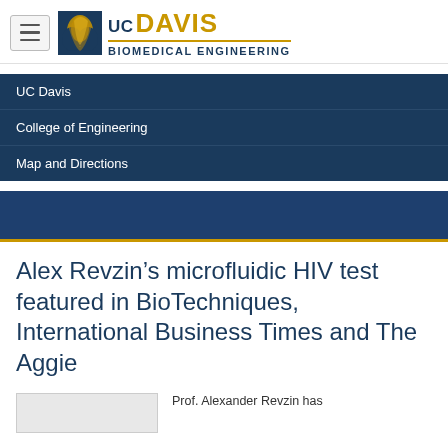[Figure (logo): UC Davis Biomedical Engineering logo with blue icon and gold/blue wordmark]
UC Davis
College of Engineering
Map and Directions
Alex Revzin’s microfluidic HIV test featured in BioTechniques, International Business Times and The Aggie
Prof. Alexander Revzin has